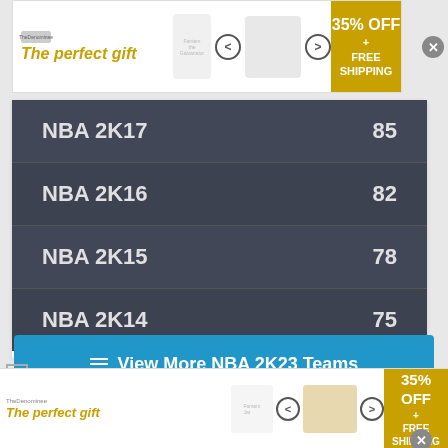[Figure (other): Advertisement banner for TheDenominee: 'The perfect gift' with kitchen product images, navigation arrows, and 35% OFF + FREE SHIPPING badge]
| Game | Score |
| --- | --- |
| NBA 2K17 | 85 |
| NBA 2K16 | 82 |
| NBA 2K15 | 78 |
| NBA 2K14 | 75 |
View More NBA 2K23 Teams
ADVERTISEMENT
[Figure (other): Advertisement banner at bottom of page for TheDenominee: 'The perfect gift' with food/basket product images and 35% OFF + FREE SHIPPING badge]